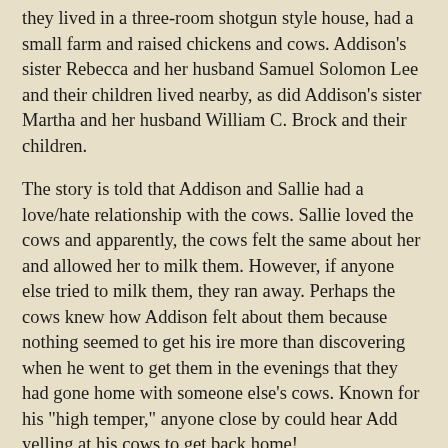they lived in a three-room shotgun style house, had a small farm and raised chickens and cows. Addison's sister Rebecca and her husband Samuel Solomon Lee and their children lived nearby, as did Addison's sister Martha and her husband William C. Brock and their children.
The story is told that Addison and Sallie had a love/hate relationship with the cows. Sallie loved the cows and apparently, the cows felt the same about her and allowed her to milk them. However, if anyone else tried to milk them, they ran away. Perhaps the cows knew how Addison felt about them because nothing seemed to get his ire more than discovering when he went to get them in the evenings that they had gone home with someone else's cows. Known for his "high temper," anyone close by could hear Add yelling at his cows to get back home!
A humorous story is recorded by those who knew Add. The story is about his grand-nephew and namesake, Add Lee. Add Lee had a pair of white overalls that Add Gainus just hated and he made sure Add Lee knew it. One day when Add Lee's overall were hanging out to dry on the clothesline